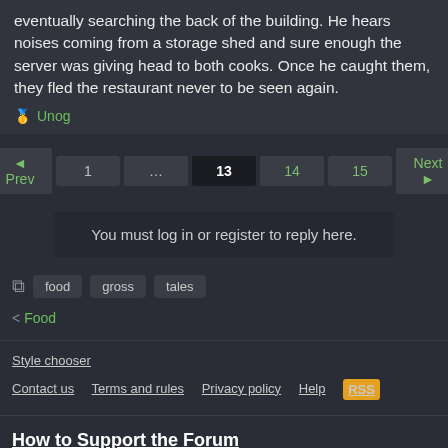eventually searching the back of the building. He hears noises coming from a storage shed and sure enough the server was giving head to both cooks. Once he caught them, they fled the restaurant never to be seen again.
Unog
◄ Prev  1  ...  13  14  15  Next ►
You must log in or register to reply here.
food
gross
tales
< Food
Style chooser
Contact us   Terms and rules   Privacy policy   Help
How to Support the Forum
This website was made possible by contributions from viewers like you.